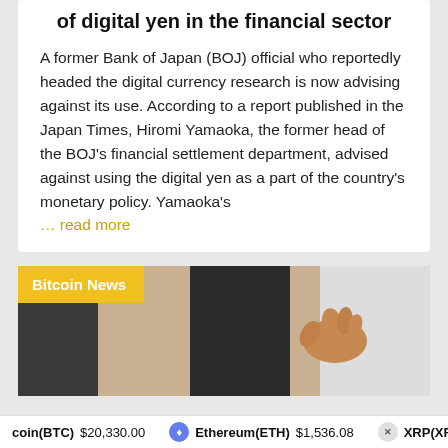of digital yen in the financial sector
A former Bank of Japan (BOJ) official who reportedly headed the digital currency research is now advising against its use. According to a report published in the Japan Times, Hiromi Yamaoka, the former head of the BOJ's financial settlement department, advised against using the digital yen as a part of the country's monetary policy. Yamaoka's
... read more
[Figure (photo): Bitcoin News article thumbnail showing a close-up of a person's hand with fingers pinched together, against a light background. A 'Bitcoin News' badge in yellow is overlaid in the top-left corner.]
coin(BTC) $20,330.00  Ethereum(ETH) $1,536.08  XRP(XRP